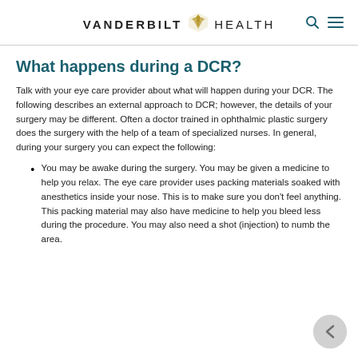VANDERBILT HEALTH
What happens during a DCR?
Talk with your eye care provider about what will happen during your DCR. The following describes an external approach to DCR; however, the details of your surgery may be different. Often a doctor trained in ophthalmic plastic surgery does the surgery with the help of a team of specialized nurses. In general, during your surgery you can expect the following:
You may be awake during the surgery. You may be given a medicine to help you relax. The eye care provider uses packing materials soaked with anesthetics inside your nose. This is to make sure you don't feel anything. This packing material may also have medicine to help you bleed less during the procedure. You may also need a shot (injection) to numb the area.